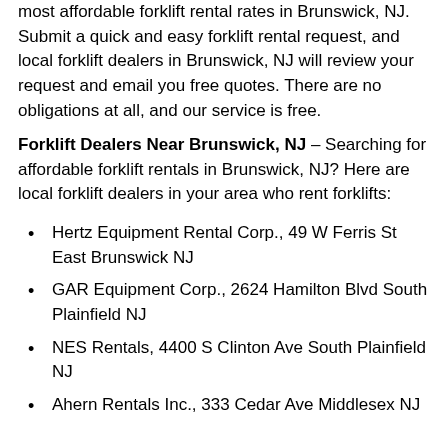most affordable forklift rental rates in Brunswick, NJ. Submit a quick and easy forklift rental request, and local forklift dealers in Brunswick, NJ will review your request and email you free quotes. There are no obligations at all, and our service is free.
Forklift Dealers Near Brunswick, NJ – Searching for affordable forklift rentals in Brunswick, NJ? Here are local forklift dealers in your area who rent forklifts:
Hertz Equipment Rental Corp., 49 W Ferris St East Brunswick NJ
GAR Equipment Corp., 2624 Hamilton Blvd South Plainfield NJ
NES Rentals, 4400 S Clinton Ave South Plainfield NJ
Ahern Rentals Inc., 333 Cedar Ave Middlesex NJ